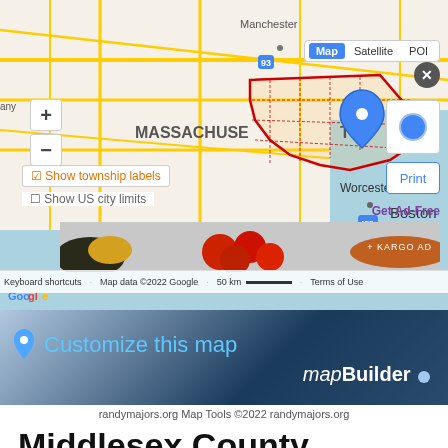[Figure (map): Google Maps screenshot showing Massachusetts with Middlesex County highlighted, Boston area visible, map controls including zoom, township labels toggle, Map/Satellite/POI tabs, print button, and a Kargo ad overlay showing food items. Map footer shows keyboard shortcuts, copyright 2022 Google, 50km scale, Terms of Use.]
[Figure (other): Customize this map banner with mapBuilder branding - dark blue gradient background with location pin icon, 'Customize this map' in light blue text, and 'mapBuilder' with italic 'map' and a blue dot on the right.]
randymajors.org Map Tools ©2022 randymajors.org
Middlesex County, Massachusetts - Townships Map